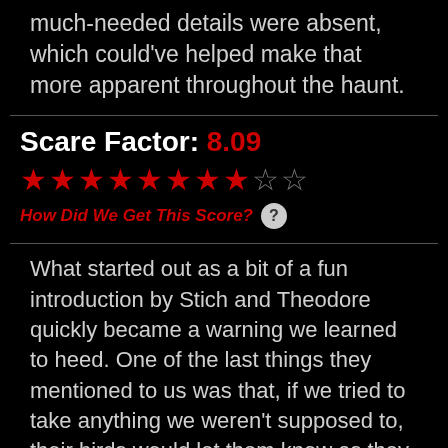much-needed details were absent, which could've helped make that more apparent throughout the haunt.
Scare Factor: 8.09
[Figure (other): Star rating display showing 8 filled red stars and 2 empty stars out of 10, representing a score of 8.09]
How Did We Get This Score?
What started out as a bit of a fun introduction by Stich and Theodore quickly became a warning we learned to heed. One of the last things they mentioned to us was that, if we tried to take anything we weren't supposed to, their birds would let them know as they see everything and their family likes to hunt. Yikes! Even that